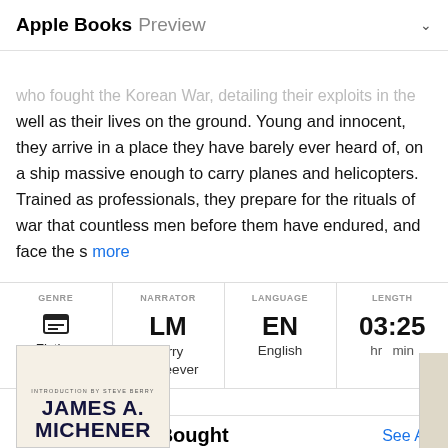Apple Books Preview
In one of his beloved early bestsellers, Pulitzer Prize–winning [author] crafts a tale of the American men who fought the Korean War, detailing their exploits in the air as well as their lives on the ground. Young and innocent, they arrive in a place they have barely ever heard of, on a ship massive enough to carry planes and helicopters. Trained as professionals, they prepare for the rituals of war that countless men before them have endured, and face the s more
| GENRE | NARRATOR | LANGUAGE | LENGTH |
| --- | --- | --- | --- |
| Fiction | LM
Larry McKeever | EN
English | 03:25
hr min |
Listeners Also Bought
See All
[Figure (illustration): Partial book cover showing text: INTRODUCTION BY STEVE BERRY / JAMES A. MICHENER on a cream/beige background]